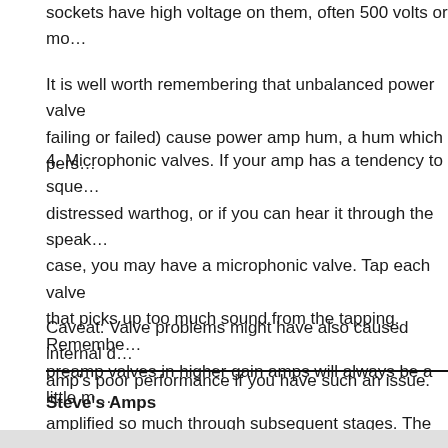sockets have high voltage on them, often 500 volts or more.
It is well worth remembering that unbalanced power valves (failing or failed) cause power amp hum, a hum which pers...
4. Microphonic valves. If your amp has a tendency to sque... distressed warthog, or if you can hear it through the speak... case, you may have a microphonic valve. Tap each valve that picks up too much sound from the tapping. Remembe... preamp valves in higher gain amps will always be a little m... amplified so much through subsequent stages. The first st... always the one nearest the inputs.
Caveat: Valve problems might have also caused internal d... amp's poor performance if you have such an issue.
Steve's Amps